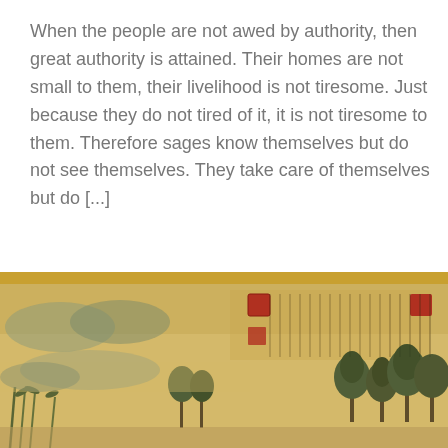When the people are not awed by authority, then great authority is attained. Their homes are not small to them, their livelihood is not tiresome. Just because they do not tired of it, it is not tiresome to them. Therefore sages know themselves but do not see themselves. They take care of themselves but do [...]
Continue Reading
[Figure (illustration): A traditional Chinese landscape painting scroll showing mountains, trees, and calligraphy text with red seal stamps on aged yellowish paper background. A gold/amber horizontal band appears at the top of the image area.]